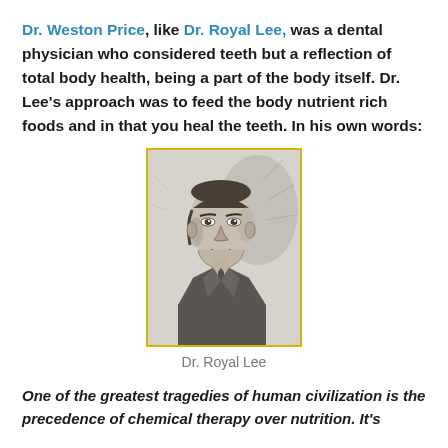Dr. Weston Price, like Dr. Royal Lee, was a dental physician who considered teeth but a reflection of total body health, being a part of the body itself. Dr. Lee's approach was to feed the body nutrient rich foods and in that you heal the teeth. In his own words:
[Figure (photo): Black and white sketch/portrait photograph of Dr. Royal Lee, a middle-aged man in a suit and tie, with a yellow-bordered frame.]
Dr. Royal Lee
One of the greatest tragedies of human civilization is the precedence of chemical therapy over nutrition. It's